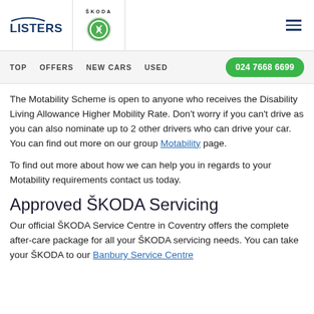LISTERS | SKODA
TOP   OFFERS   NEW CARS   USED   024 7668 6699
The Motability Scheme is open to anyone who receives the Disability Living Allowance Higher Mobility Rate. Don't worry if you can't drive as you can also nominate up to 2 other drivers who can drive your car. You can find out more on our group Motability page.
To find out more about how we can help you in regards to your Motability requirements contact us today.
Approved ŠKODA Servicing
Our official ŠKODA Service Centre in Coventry offers the complete after-care package for all your ŠKODA servicing needs. You can take your ŠKODA to our Banbury Service Centre